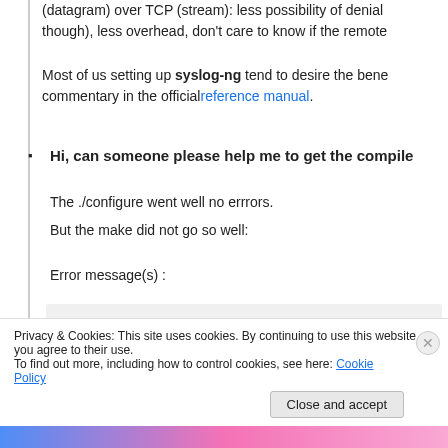(datagram) over TCP (stream): less possibility of denial... though), less overhead, don't care to know if the remote...
Most of us setting up syslog-ng tend to desire the bene... commentary in the official reference manual.
Hi, can someone please help me to get the compile...
The ./configure went well no errrors.
But the make did not go so well:
Error message(s) :
[Figure (screenshot): Code block showing: >> spip_gcc -g -O2 -Wall -T/usr/local/...]
Privacy & Cookies: This site uses cookies. By continuing to use this website, you agree to their use.
To find out more, including how to control cookies, see here: Cookie Policy
Close and accept